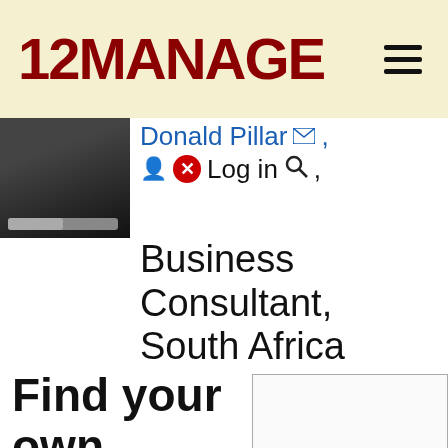12MANAGE
Donald Pillar ✉ Log in 🔍 , Business Consultant, South Africa
Find your own style